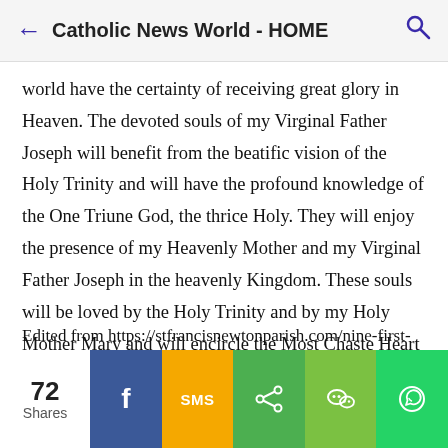Catholic News World - HOME
world have the certainty of receiving great glory in Heaven. The devoted souls of my Virginal Father Joseph will benefit from the beatific vision of the Holy Trinity and will have the profound knowledge of the One Triune God, the thrice Holy. They will enjoy the presence of my Heavenly Mother and my Virginal Father Joseph in the heavenly Kingdom. These souls will be loved by the Holy Trinity and by my Holy Mother Mary and will encircle the Most Chaste Heart of my Virginal Father Joseph like the most beautiful of lilies.
Edited from https://stfrancisnewtonparish.com/nine-first-
72 Shares